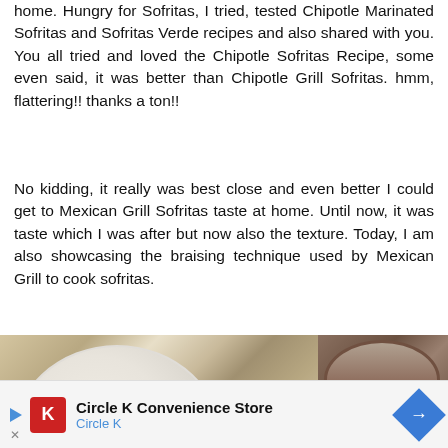home. Hungry for Sofritas, I tried, tested Chipotle Marinated Sofritas and Sofritas Verde recipes and also shared with you. You all tried and loved the Chipotle Sofritas Recipe, some even said, it was better than Chipotle Grill Sofritas. hmm, flattering!! thanks a ton!!
No kidding, it really was best close and even better I could get to Mexican Grill Sofritas taste at home. Until now, it was taste which I was after but now also the texture. Today, I am also showcasing the braising technique used by Mexican Grill to cook sofritas.
[Figure (photo): Food photo showing a white plate with sofritas (spiced tofu), sliced radishes, lime wedges on left side, and a metal bowl or pot with sofritas on the right side, placed on a wooden surface.]
Circle K Convenience Store Circle K